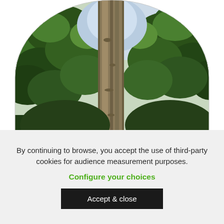[Figure (photo): Photo of a tall tree trunk viewed from below looking up, surrounded by dense green tropical forest canopy against a bright sky. The image is cropped in a semicircle/arch shape at the top.]
By continuing to browse, you accept the use of third-party cookies for audience measurement purposes.
Configure your choices
Accept & close